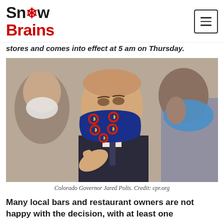SnowBrains
stores and comes into effect at 5 am on Thursday.
[Figure (photo): Colorado Governor Jared Polis wearing a blue Colorado flag-themed face mask, gesturing with his hand, with two other masked individuals in the background.]
Colorado Governor Jared Polis. Credit: cpr.org
Many local bars and restaurant owners are not happy with the decision, with at least one